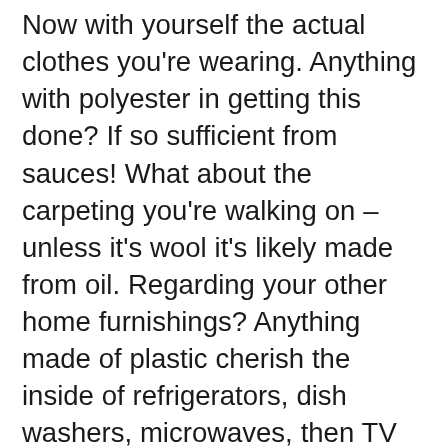Now with yourself the actual clothes you're wearing. Anything with polyester in getting this done? If so sufficient from sauces! What about the carpeting you're walking on – unless it's wool it's likely made from oil. Regarding your other home furnishings? Anything made of plastic cherish the inside of refrigerators, dish washers, microwaves, then TV sets, audio equipment, toys, curtains and drapes, window shades, all plastic control knobs on everything, all PVC plumbing pipes and fixtures as well as course the electrical wiring would Fiber optic cable not need the protective insulating covering that is made from plastic (oil) so that's a sizable problem. Open your medicine cabinet and discover find medicines, vitamins any other personal products made from oil in one form or another.